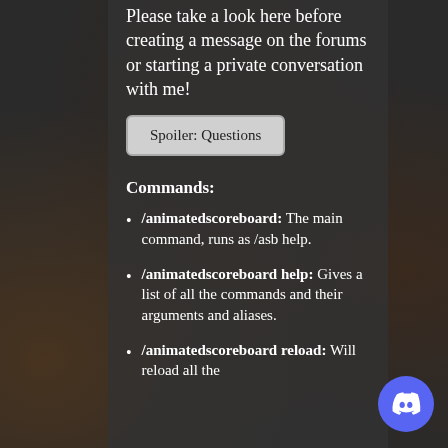Please take a look here before creating a message on the forums or starting a private conversation with me!
Spoiler: Questions
Commands:
/animatedscoreboard: The main command, runs as /asb help.
/animatedscoreboard help: Gives a list of all the commands and their arguments and aliases.
/animatedscoreboard reload: Will reload all the